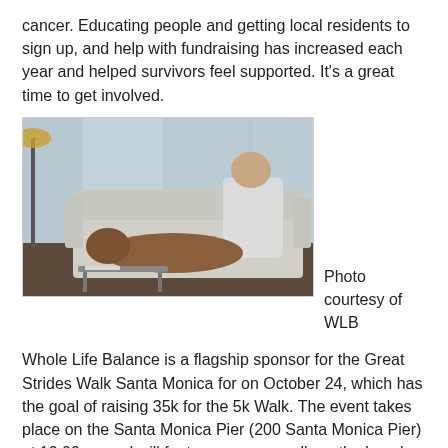cancer. Educating people and getting local residents to sign up, and help with fundraising has increased each year and helped survivors feel supported. It's a great time to get involved.
[Figure (photo): A man relaxing on a grey tufted sofa with a brown boxer dog lying beside him, in a modern interior with large glass windows and a floor lamp.]
Photo courtesy of WLB
Whole Life Balance is a flagship sponsor for the Great Strides Walk Santa Monica for on October 24, which has the goal of raising 35k for the 5k Walk. The event takes place on the Santa Monica Pier (200 Santa Monica Pier) at 10:00am and will feature a power walk on the beach to benefit Breast Cancer Awareness Month. Live music, shopping, food/drink will also be provided